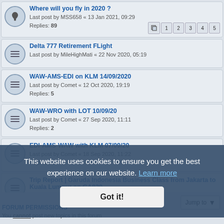Where will you fly in 2020 ?
Last post by MSS658 « 13 Jan 2021, 09:29
Replies: 89
Delta 777 Retirement FLight
Last post by MileHighMati « 22 Nov 2020, 05:19
WAW-AMS-EDI on KLM 14/09/2020
Last post by Comet « 12 Oct 2020, 19:19
Replies: 5
WAW-WRO with LOT 10/09/20
Last post by Comet « 27 Sep 2020, 11:11
Replies: 2
EDI-AMS-WAW with KLM 07/09/20
Last post by Comet « 18 Sep 2020, 11:22
Replies: 2
Trip Report | Garuda Indonesia Business Class from Jakarta to Kuala Lumpur on GA820
Last post by abebebee « 28 Aug 2020, 09:44
This website uses cookies to ensure you get the best experience on our website. Learn more
Got it!
FORUM PERMISSIONS
You cannot post new topics in this forum